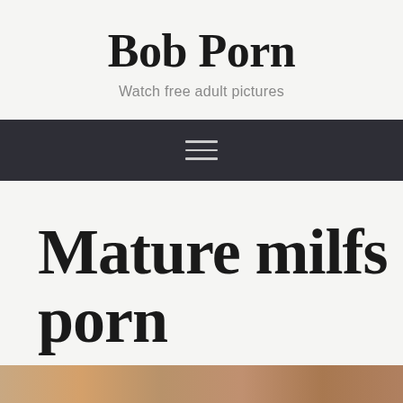Bob Porn
Watch free adult pictures
≡
Mature milfs porn
[Figure (photo): Partial bottom strip showing a photo thumbnail]